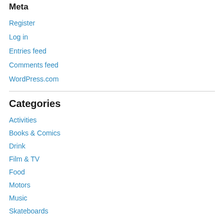Meta
Register
Log in
Entries feed
Comments feed
WordPress.com
Categories
Activities
Books & Comics
Drink
Film & TV
Food
Motors
Music
Skateboards
Style
Tat